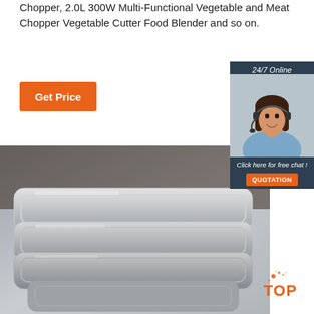Chopper, 2.0L 300W Multi-Functional Vegetable and Meat Chopper Vegetable Cutter Food Blender and so on.
[Figure (other): Orange 'Get Price' button]
[Figure (other): 24/7 Online chat widget with photo of woman wearing headset, 'Click here for free chat!' text and orange QUOTATION button]
[Figure (photo): Product photo showing stainless steel trays/pans being held by a person in a dark top]
[Figure (logo): TOP logo with orange dot splash design in bottom right corner]